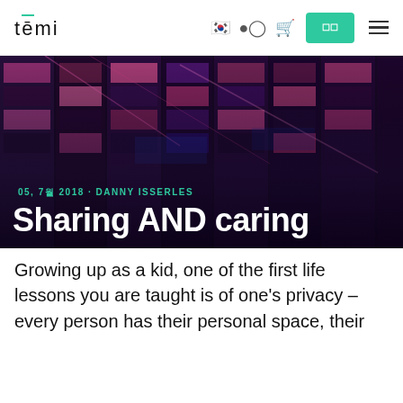temi
[Figure (photo): Nighttime photo of a glass office building facade with neon pink/purple and blue lighting reflecting through the windows, overlaid with blog post date and title text.]
Sharing AND caring
05, 7월 2018 · DANNY ISSERLES
Growing up as a kid, one of the first life lessons you are taught is of one's privacy – every person has their personal space, their